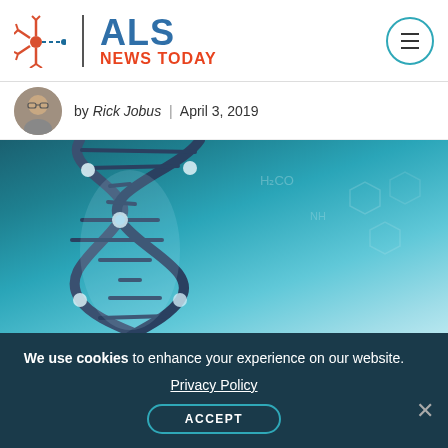ALS NEWS TODAY
by Rick Jobus | April 3, 2019
[Figure (photo): Close-up illustration of a DNA double helix structure against a teal/blue background with faint chemical structure diagrams]
We use cookies to enhance your experience on our website. Privacy Policy ACCEPT